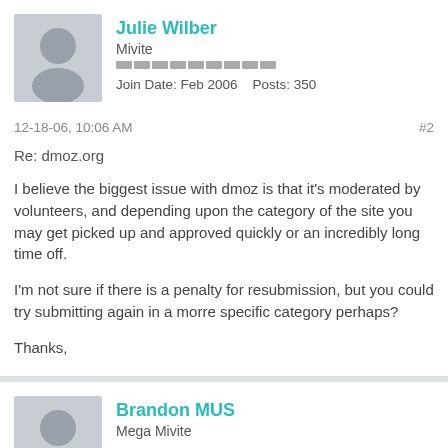Julie Wilber
Mivite
Join Date: Feb 2006    Posts: 350
12-18-06, 10:06 AM
#2
Re: dmoz.org
I believe the biggest issue with dmoz is that it's moderated by volunteers, and depending upon the category of the site you may get picked up and approved quickly or an incredibly long time off.
I'm not sure if there is a penalty for resubmission, but you could try submitting again in a morre specific category perhaps?
Thanks,
Brandon MUS
Mega Mivite